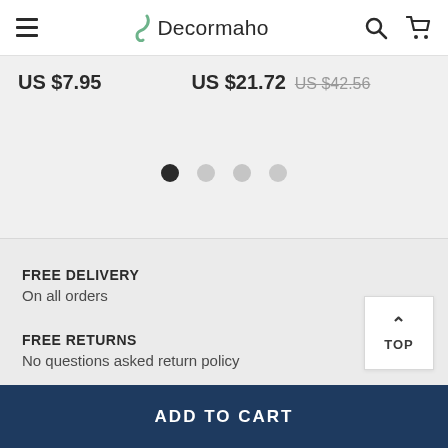Decormaho
US $7.95   US $21.72   US $42.56
[Figure (other): Carousel pagination dots: 4 dots, first dark/active, rest grey]
FREE DELIVERY
On all orders
FREE RETURNS
No questions asked return policy
TOP
ADD TO CART